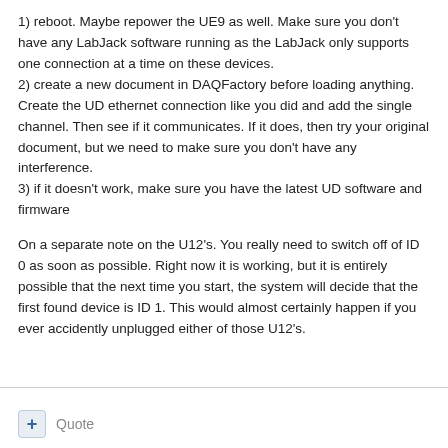1) reboot.  Maybe repower the UE9 as well.  Make sure you don't have any LabJack software running as the LabJack only supports one connection at a time on these devices.
2) create a new document in DAQFactory before loading anything.  Create the UD ethernet connection like you did and add the single channel.  Then see if it communicates.  If it does, then try your original document, but we need to make sure you don't have any interference.
3) if it doesn't work, make sure you have the latest UD software and firmware
On a separate note on the U12's.  You really need to switch off of ID 0 as soon as possible. Right now it is working, but it is entirely possible that the next time you start, the system will decide that the first found device is ID 1.  This would almost certainly happen if you ever accidently unplugged either of those U12's.